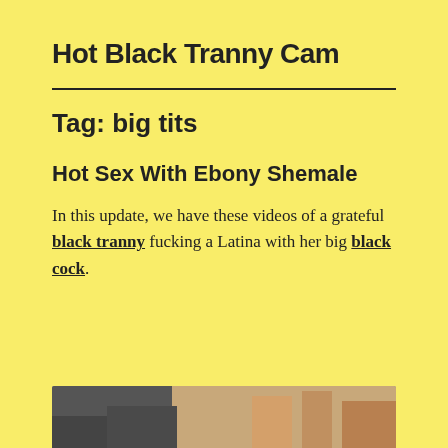Hot Black Tranny Cam
Tag: big tits
Hot Sex With Ebony Shemale
In this update, we have these videos of a grateful black tranny fucking a Latina with her big black cock.
[Figure (photo): Partial photo visible at bottom of page, appears to show a person's legs/lower body against a background]